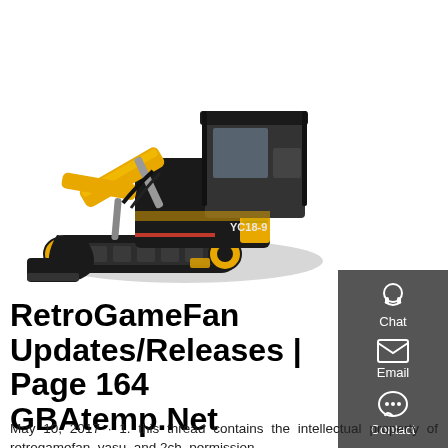[Figure (photo): Yellow mini excavator (YC18-9) with black canopy and bucket arm, on rubber tracks, white background.]
RetroGameFan Updates/Releases | Page 164 GBAtemp.Net
May 10, 2017 · 1. this thread contains the intellectual property of retrogamefan, yasu, and 2ch. permission